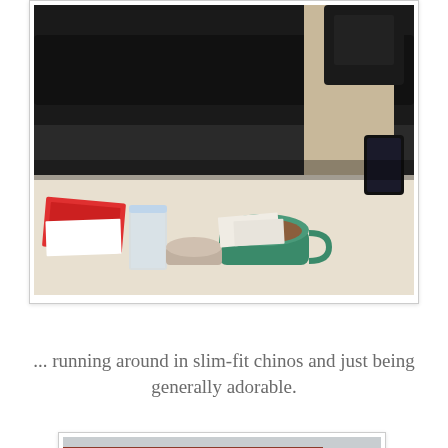[Figure (photo): Indoor cafe/restaurant scene viewed from above showing a table with a green mug of coffee/tea, a glass of water, a small metal bowl, napkins, menus; in the background dark booth seating and a person in tan/khaki pants holding a phone/tablet]
... running around in slim-fit chinos and just being generally adorable.
[Figure (photo): Street-level photo of a brick building corner with Verizon store on left side and Ample Hills Creamery on right side; urban street scene with trees and buildings in background]